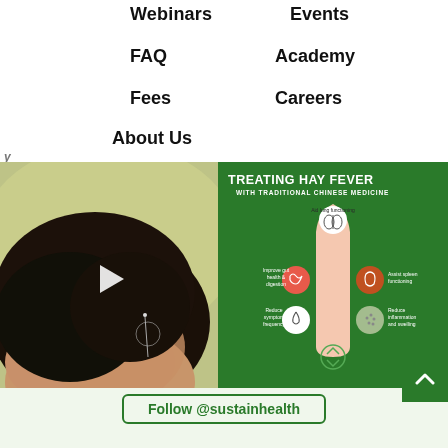Webinars
FAQ
Fees
About Us
Events
Academy
Careers
[Figure (photo): Close-up of person's head with acupuncture needle visible, play button overlay indicating video content]
[Figure (infographic): Green infographic titled 'TREATING HAY FEVER WITH TRADITIONAL CHINESE MEDICINE' showing body with labels: Aid lung functioning, Improve gut health & digestion, Assist spleen functioning, Reduce symptom frequency, Reduce inflammation and swelling]
Follow @sustainhealth